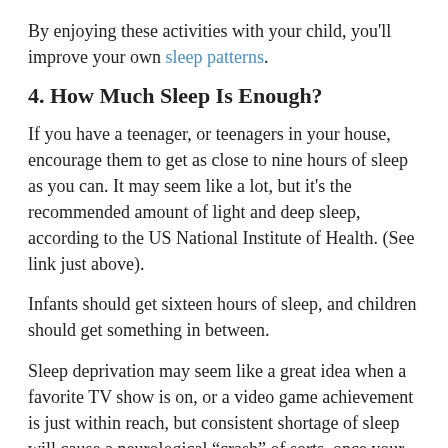By enjoying these activities with your child, you'll improve your own sleep patterns.
4. How Much Sleep Is Enough?
If you have a teenager, or teenagers in your house, encourage them to get as close to nine hours of sleep as you can. It may seem like a lot, but it's the recommended amount of light and deep sleep, according to the US National Institute of Health. (See link just above).
Infants should get sixteen hours of sleep, and children should get something in between.
Sleep deprivation may seem like a great idea when a favorite TV show is on, or a video game achievement is just within reach, but consistent shortage of sleep will cause a neurological “crash” of sorts, once your sleep bank is overdrawn.